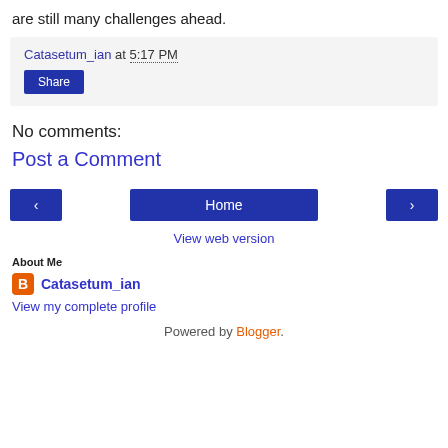are still many challenges ahead.
Catasetum_ian at 5:17 PM
Share
No comments:
Post a Comment
‹
Home
›
View web version
About Me
Catasetum_ian
View my complete profile
Powered by Blogger.